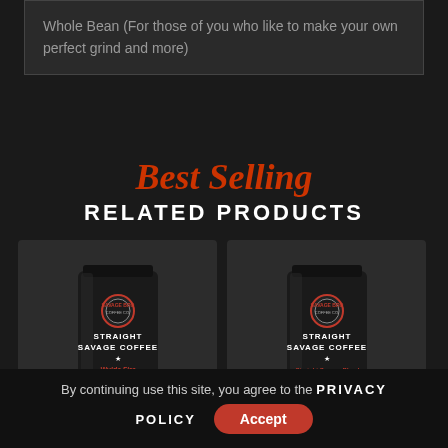Whole Bean (For those of you who like to make your own perfect grind and more)
Best Selling
RELATED PRODUCTS
[Figure (photo): Two black coffee bags labeled 'Straight Savage Coffee' - left bag shows 'Wylde Fire Espresso Grind', right bag shows 'Straight Savage Blend Espresso Grind', both with Savage Bro Coffee Co. logo]
By continuing use this site, you agree to the PRIVACY POLICY
Accept